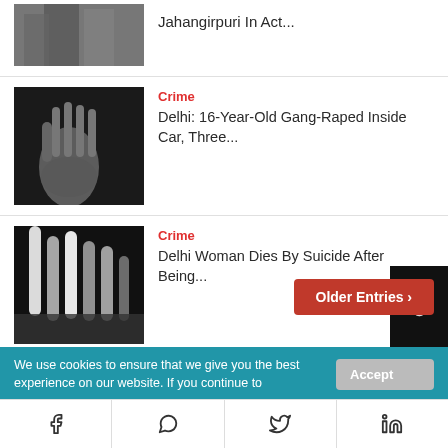[Figure (photo): Partial top news item showing people image cropped at top]
Jahangirpuri In Act...
[Figure (photo): Hand pressed against dark background - crime story thumbnail]
Crime
Delhi: 16-Year-Old Gang-Raped Inside Car, Three...
[Figure (photo): Black and white image of hands/fingers - crime story thumbnail]
Crime
Delhi Woman Dies By Suicide After Being...
[Figure (photo): Image of a hand/body on ground - crime story thumbnail]
Crime
Karachi Horror: Pakistani Man Boils Wife In Cauldron...
Older Entries >
We use cookies to ensure that we give you the best experience on our website. If you continue to
Accept